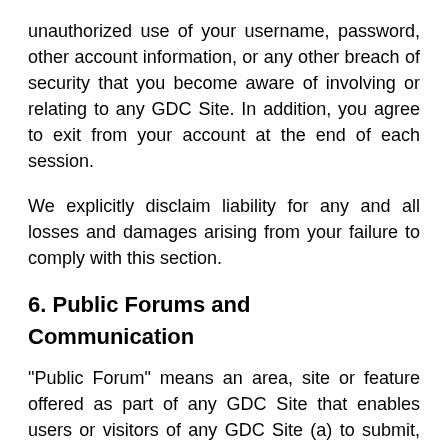unauthorized use of your username, password, other account information, or any other breach of security that you become aware of involving or relating to any GDC Site. In addition, you agree to exit from your account at the end of each session.
We explicitly disclaim liability for any and all losses and damages arising from your failure to comply with this section.
6. Public Forums and Communication
"Public Forum" means an area, site or feature offered as part of any GDC Site that enables users or visitors of any GDC Site (a) to submit, post, display and/or view User-Generated Content and/or (b) to communicate, share or exchange User-Generated Content with other GDC Site users, visitors and members of the general public including, without limitation, a chat area, message board, instant